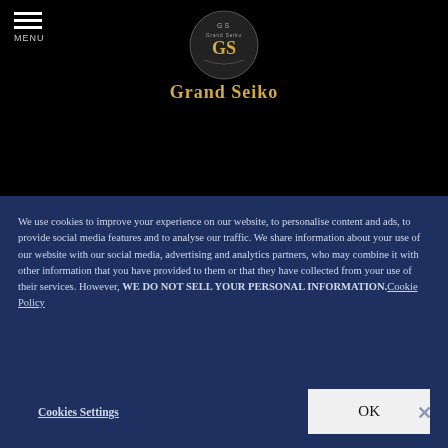[Figure (logo): Grand Seiko logo with circular emblem and decorative gothic wordmark 'Grand Seiko' in gold on black background]
We use cookies to improve your experience on our website, to personalise content and ads, to provide social media features and to analyse our traffic. We share information about your use of our website with our social media, advertising and analytics partners, who may combine it with other information that you have provided to them or that they have collected from your use of their services. However, WE DO NOT SELL YOUR PERSONAL INFORMATION. Cookie Policy
Cookies Settings
OK